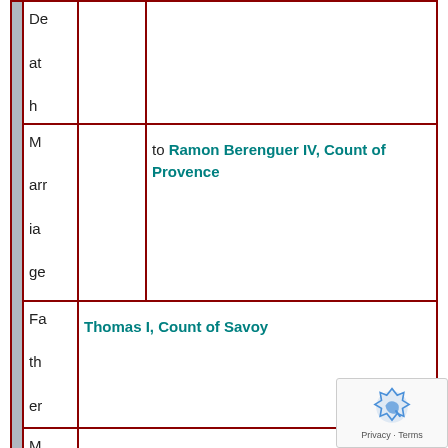|  |  |  |
| --- | --- | --- |
| Death |  |  |
| Marriage |  | to Ramon Berenguer IV, Count of Provence |
| Father |  | Thomas I, Count of Savoy |
| Mother |  | Margaret of Geneva |